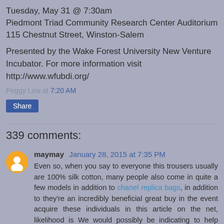Tuesday, May 31 @ 7:30am
Piedmont Triad Community Research Center Auditorium
115 Chestnut Street, Winston-Salem
Presented by the Wake Forest University New Venture Incubator. For more information visit http://www.wfubdi.org/
Peggy Low at 7:20 AM
Share
339 comments:
maymay  January 28, 2015 at 7:35 PM
Even so, when you say to everyone this trousers usually are 100% silk cotton, many people also come in quite a few models in addition to chanel replica bags, in addition to they're an incredibly beneficial great buy in the event acquire these individuals in this article on the net, likelihood is We would possibly be indicating to help myself personally, say to everyone anything When i don't have found that, in addition to When i witout a doubt understand